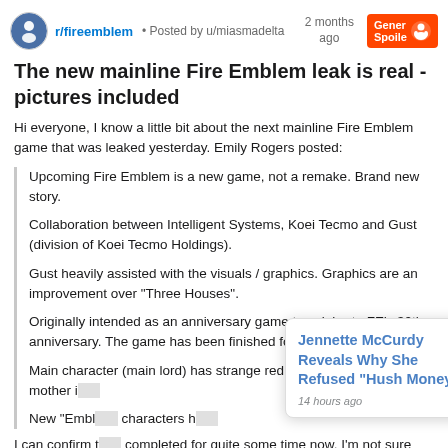r/fireemblem • Posted by u/miasmadelta   2 months ago   General Spoiler
The new mainline Fire Emblem leak is real - pictures included
Hi everyone, I know a little bit about the next mainline Fire Emblem game that was leaked yesterday. Emily Rogers posted:
Upcoming Fire Emblem is a new game, not a remake. Brand new story.
Collaboration between Intelligent Systems, Koei Tecmo and Gust (division of Koei Tecmo Holdings).
Gust heavily assisted with the visuals / graphics. Graphics are an improvement over "Three Houses".
Originally intended as an anniversary game to celebrate FE's 30th anniversary. The game has been finished for over a year.
Main character (main lord) has strange red and blue hair. His mother i[truncated]
New "Embl[truncated] characters h[truncated]
I can confirm t[truncated] completed for quite some time now. I'm not sure what the delay has been in announcing it. Interestingly, some aspects of it seem
[Figure (other): Popup notification showing 'Jennette McCurdy Reveals Why She Refused "Hush Money"' with timestamp '14 hours ago' and a close (X) button]